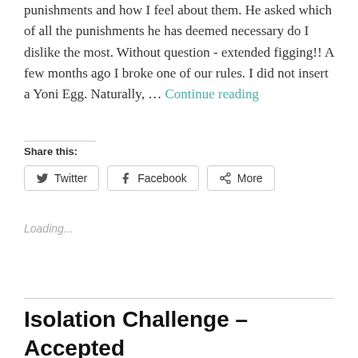punishments and how I feel about them. He asked which of all the punishments he has deemed necessary do I dislike the most. Without question - extended figging!! A few months ago I broke one of our rules. I did not insert a Yoni Egg. Naturally, … Continue reading
Share this:
Twitter  Facebook  More
Loading...
Isolation Challenge – Accepted